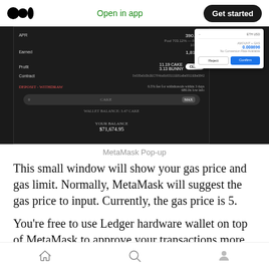Open in app | Get started
[Figure (screenshot): MetaMask Pop-up screenshot showing a DeFi yield farming interface with APY, earned amounts, CAKE staking deposit section, wallet balance of $71,674.95, and a MetaMask confirmation popup showing 0.008696 ETH amount with Reject and Confirm buttons.]
MetaMask Pop-up
This small window will show your gas price and gas limit. Normally, MetaMask will suggest the gas price to input. Currently, the gas price is 5.
You’re free to use Ledger hardware wallet on top of MetaMask to approve your transactions more
Home | Search | Profile